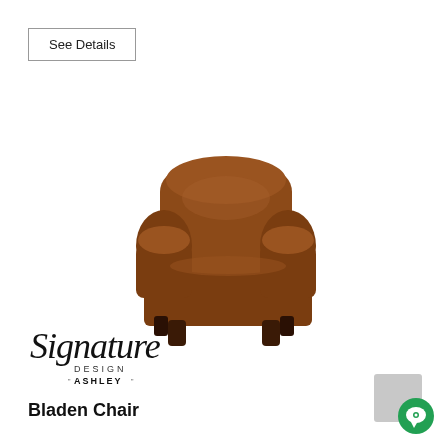See Details
[Figure (photo): Brown leather upholstered armchair (Bladen Chair) with rolled arms and dark wooden feet, photographed against a white background.]
[Figure (logo): Signature Design by Ashley logo with stylized cursive 'Signature' text above 'DESIGN' and 'ASHLEY' in block letters.]
Bladen Chair
[Figure (other): Chat support icon: grey square with green circle containing a white chat bubble icon.]